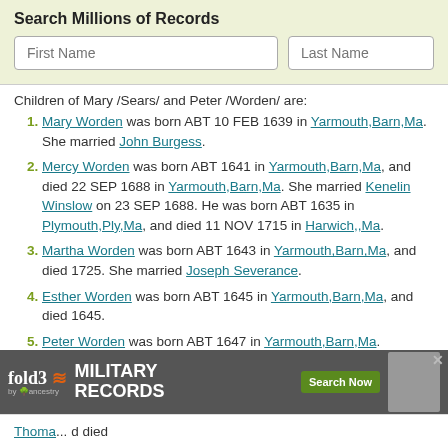Search Millions of Records
Children of Mary /Sears/ and Peter /Worden/ are:
Mary Worden was born ABT 10 FEB 1639 in Yarmouth,Barn,Ma. She married John Burgess.
Mercy Worden was born ABT 1641 in Yarmouth,Barn,Ma, and died 22 SEP 1688 in Yarmouth,Barn,Ma. She married Kenelin Winslow on 23 SEP 1688. He was born ABT 1635 in Plymouth,Ply,Ma, and died 11 NOV 1715 in Harwich,,Ma.
Martha Worden was born ABT 1643 in Yarmouth,Barn,Ma, and died 1725. She married Joseph Severance.
Esther Worden was born ABT 1645 in Yarmouth,Barn,Ma, and died 1645.
Peter Worden was born ABT 1647 in Yarmouth,Barn,Ma.
Samuel Worden was born ABT 1699 in Yarmouth,Barn,Ma. He married Hopestill Holly.
[Figure (screenshot): fold3 by ancestry Military Records advertisement banner with Search Now button]
Thoma... and died